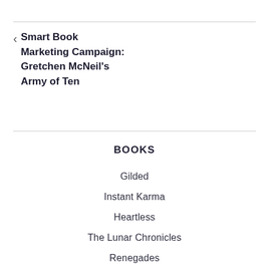< Smart Book Marketing Campaign: Gretchen McNeil's Army of Ten
BOOKS
Gilded
Instant Karma
Heartless
The Lunar Chronicles
Renegades